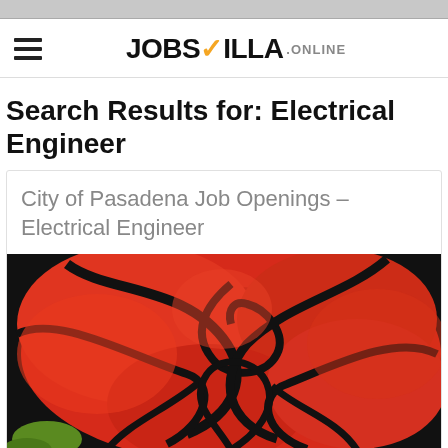JobsVilla.online
Search Results for: Electrical Engineer
City of Pasadena Job Openings – Electrical Engineer
[Figure (photo): Close-up blurred photograph of a red rose with dark black outlines visible, and a small green stem visible at the bottom left.]